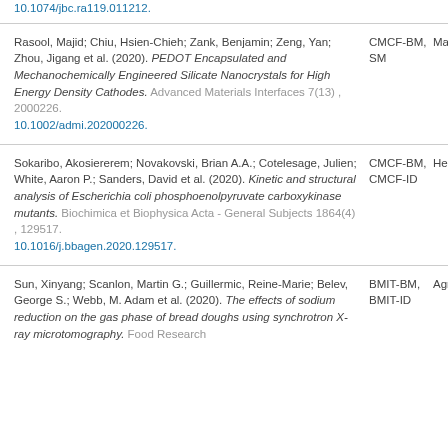10.1074/jbc.ra119.011212.
Rasool, Majid; Chiu, Hsien-Chieh; Zank, Benjamin; Zeng, Yan; Zhou, Jigang et al. (2020). PEDOT Encapsulated and Mechanochemically Engineered Silicate Nanocrystals for High Energy Density Cathodes. Advanced Materials Interfaces 7(13) , 2000226. 10.1002/admi.202000226.
Sokaribo, Akosiererem; Novakovski, Brian A.A.; Cotelesage, Julien; White, Aaron P.; Sanders, David et al. (2020). Kinetic and structural analysis of Escherichia coli phosphoenolpyruvate carboxykinase mutants. Biochimica et Biophysica Acta - General Subjects 1864(4) , 129517. 10.1016/j.bbagen.2020.129517.
Sun, Xinyang; Scanlon, Martin G.; Guillermic, Reine-Marie; Belev, George S.; Webb, M. Adam et al. (2020). The effects of sodium reduction on the gas phase of bread doughs using synchrotron X-ray microtomography. Food Research